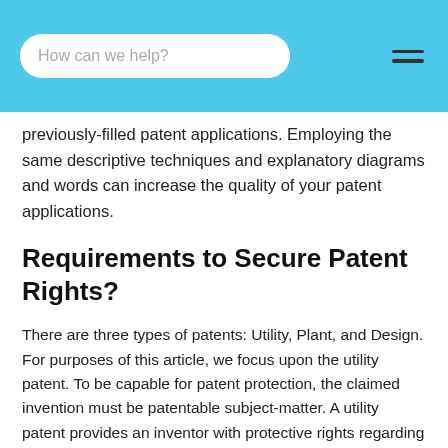How can we help?
previously-filled patent applications. Employing the same descriptive techniques and explanatory diagrams and words can increase the quality of your patent applications.
Requirements to Secure Patent Rights?
There are three types of patents: Utility, Plant, and Design. For purposes of this article, we focus upon the utility patent. To be capable for patent protection, the claimed invention must be patentable subject-matter. A utility patent provides an inventor with protective rights regarding a process, machine, article of manufacture, or composition of matter. The patent application will make claims regarding specific elements of the invention. The requirements for a claimed element to be protectable by